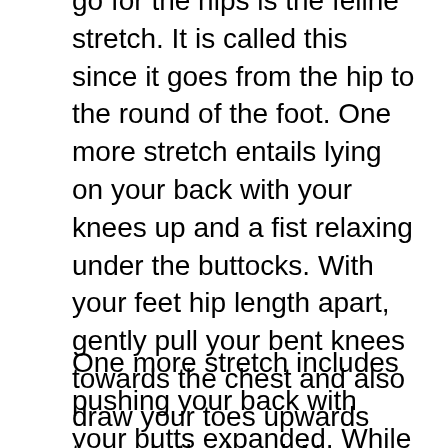go for the hips is the feline stretch. It is called this since it goes from the hip to the round of the foot. One more stretch entails lying on your back with your knees up and a fist relaxing under the buttocks. With your feet hip length apart, gently pull your bent knees towards the chest and also draw your toes upwards towards the head. You should really feel a stretch in the hamstring muscular tissues that add the hip shaft and down the rear of the legs.
One more stretch includes pushing your back with your butts expanded. While your legs are right, pull the inside of your knees toward your chest. You will really feel the stretch in the hamstring muscle mass that